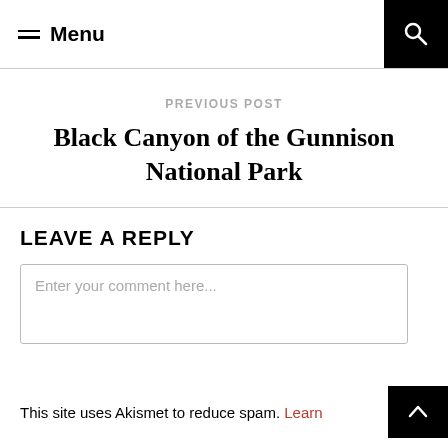≡ Menu
PREVIOUS POST
Black Canyon of the Gunnison National Park
LEAVE A REPLY
Enter your comment here...
This site uses Akismet to reduce spam. Learn